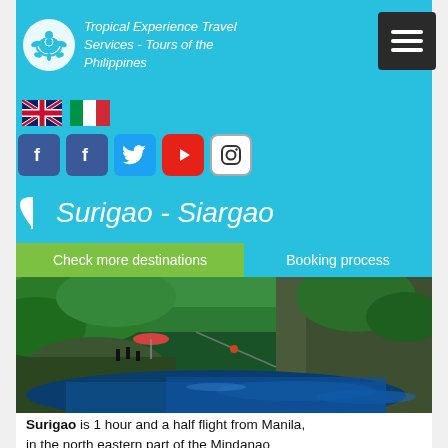Tropical Experience Travel Services - Tours of the Philippines
Surigao - Siargao
[Figure (screenshot): Navigation bar with Check more destinations (green) and Booking process (blue) buttons]
[Figure (photo): Aerial view of a lush jungle canyon with a deep blue natural pool, people swimming and standing on rocks, tropical trees surrounding the gorge]
Surigao is 1 hour and a half flight from Manila, in the north eastern part of the Mindanao...